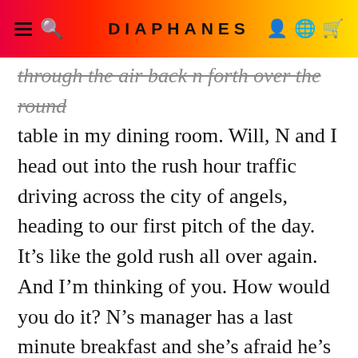DIAPHANES
through the air back n forth over the round table in my dining room. Will, N and I head out into the rush hour traffic driving across the city of angels, heading to our first pitch of the day. It’s like the gold rush all over again. And I’m thinking of you. How would you do it? N’s manager has a last minute breakfast and she’s afraid he’s going to be late. N is driving and texting. She does it so effortlessly, as she flicks her cigarette ashes out the window, one foot up on the dashboard or so it seems. The light is soft even on the harshest of mini mall signs, Pizza Garage, Donut Kingdom, Big Hair Salon, Rock N Roll sushi, Urban Cupcakes … Tall palms line the street, so mysterious how they